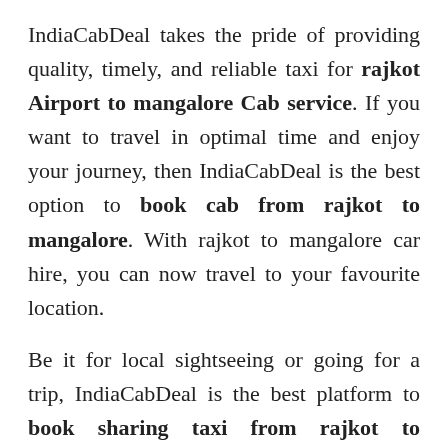IndiaCabDeal takes the pride of providing quality, timely, and reliable taxi for rajkot Airport to mangalore Cab service. If you want to travel in optimal time and enjoy your journey, then IndiaCabDeal is the best option to book cab from rajkot to mangalore. With rajkot to mangalore car hire, you can now travel to your favourite location.
Be it for local sightseeing or going for a trip, IndiaCabDeal is the best platform to book sharing taxi from rajkot to mangalore. At IndiaCabDeal, we have car options ranging from sedans to hatchbacks and MUVs to SUVs. You can even avail rajkot to mangalore Innova package based on your needs. At Indiacabs, you will find affordable rajkot